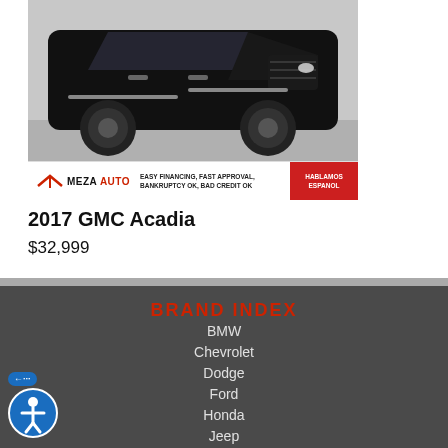[Figure (photo): Black 2017 GMC Acadia SUV with Meza Auto dealership advertisement banner at the bottom showing 'Easy Financing, Fast Approval, Bankruptcy OK, Bad Credit OK' and 'Hablamos Espanol' in a red box.]
2017 GMC Acadia
$32,999
BRAND INDEX
BMW
Chevrolet
Dodge
Ford
Honda
Jeep
Mazda
Mercedes-Benz
Nissan
Ram